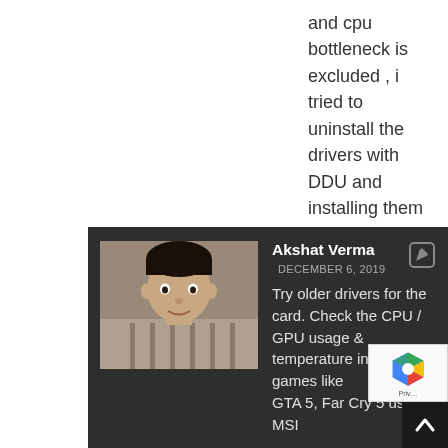and cpu bottleneck is excluded , i tried to uninstall the drivers with DDU and installing them back but it didn't work , i installed a new windows and i did the power managment solution above but it still the same . the gpu i bought is used , but not for mining , also my PSU is 400w 80+ bronze and i think it's sufficient . please help im trying to solve this probleme for the 4th day in a row 😕
Reply
[Figure (photo): Profile photo of Akshat Verma - a man in a striped shirt]
Akshat Verma DECEMBER 6, 2019 Try older drivers for the card. Check the CPU / GPU usage & temperature in other games like GTA 5, Far Cry 5 using MSI